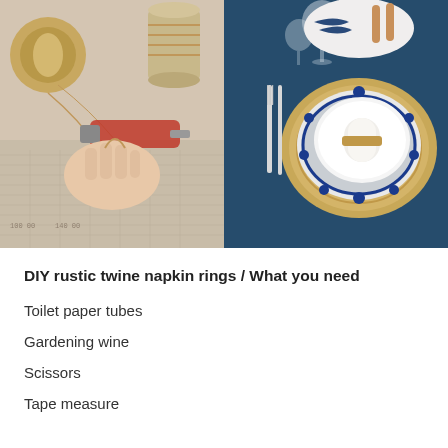[Figure (photo): Two side-by-side photos: left photo shows hands using a hot glue gun to wrap twine around a toilet paper tube on a newspaper surface, with a spool of twine nearby; right photo shows a beautifully set table with a blue tablecloth, decorative blue and white plates, a white napkin with a twine napkin ring, silverware, and wooden spoons on top of a white plate.]
DIY rustic twine napkin rings / What you need
Toilet paper tubes
Gardening wine
Scissors
Tape measure